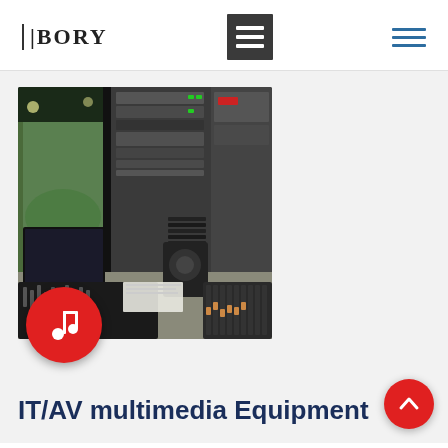BORY — navigation header with hamburger menus
[Figure (photo): Audio/visual broadcast control room with mixing consoles, monitor screens, rack-mounted equipment, and studio monitors, with a stadium visible through the window. A red circular music note icon button is overlaid at the bottom-left of the image.]
IT/AV multimedia Equipment